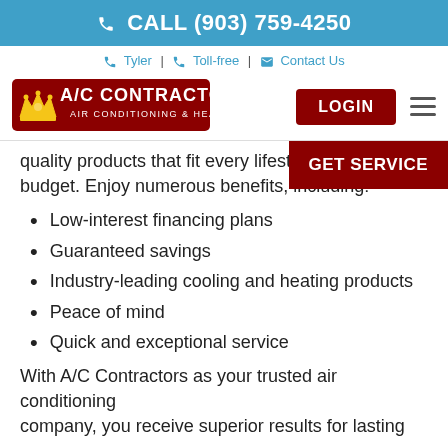CALL (903) 759-4250
Tyler | Toll-free | Contact Us
[Figure (logo): A/C Contractors Air Conditioning & Heating logo with crown icon]
quality products that fit every lifestyle and budget. Enjoy numerous benefits, including:
Low-interest financing plans
Guaranteed savings
Industry-leading cooling and heating products
Peace of mind
Quick and exceptional service
With A/C Contractors as your trusted air conditioning company, you receive superior results for lasting